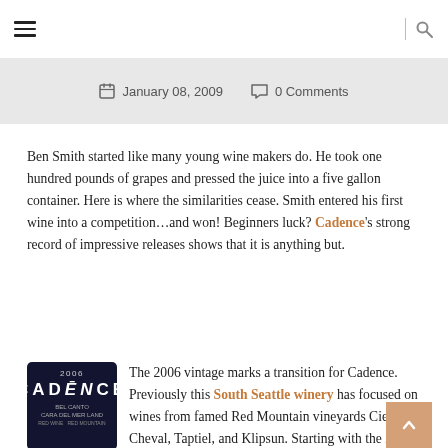☰  |  🔍
January 08, 2009   0 Comments
Ben Smith started like many young wine makers do. He took one hundred pounds of grapes and pressed the juice into a five gallon container. Here is where the similarities cease. Smith entered his first wine into a competition…and won! Beginners luck? Cadence's strong record of impressive releases shows that it is anything but.
[Figure (photo): Cadence Bel Canto 2006 wine bottle label on dark blue background]
The 2006 vintage marks a transition for Cadence. Previously this South Seattle winery has focused on wines from famed Red Mountain vineyards Ciel du Cheval, Taptiel, and Klipsun. Starting with the 2006 vintage, Cadence has started using fruit from their own